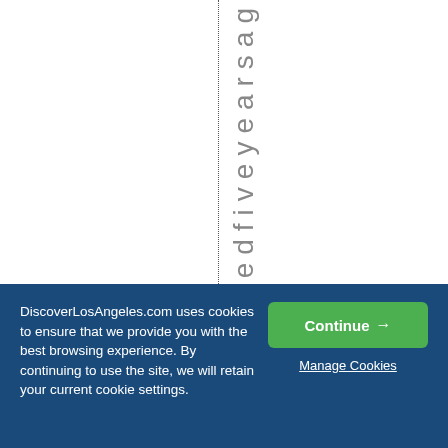oundedfiveyearsag
DiscoverLosAngeles.com uses cookies to ensure that we provide you with the best browsing experience. By continuing to use the site, we will retain your current cookie settings.
Continue →
Manage Cookies